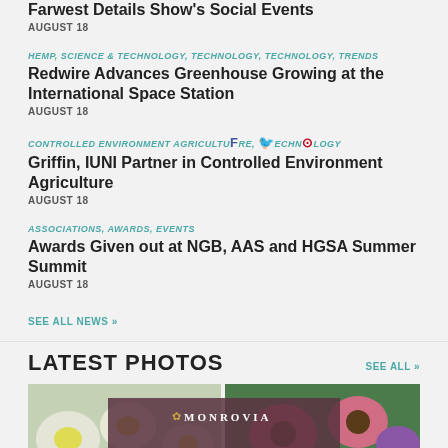Farwest Details Show's Social Events
AUGUST 18
HEMP, SCIENCE & TECHNOLOGY, TECHNOLOGY, TECHNOLOGY, TRENDS
Redwire Advances Greenhouse Growing at the International Space Station
AUGUST 18
CONTROLLED ENVIRONMENT AGRICULTURE, TECHNOLOGY
Griffin, IUNI Partner in Controlled Environment Agriculture
AUGUST 18
ASSOCIATIONS, AWARDS, EVENTS
Awards Given out at NGB, AAS and HGSA Summer Summit
AUGUST 18
SEE ALL NEWS »
LATEST PHOTOS
SEE ALL »
[Figure (photo): Flower photos grid with Monrovia banner overlay showing pink echinacea/coneflowers and mixed colorful flowers]
[Figure (logo): Monrovia logo banner with leaf icon and text MONROVIA on dark background]